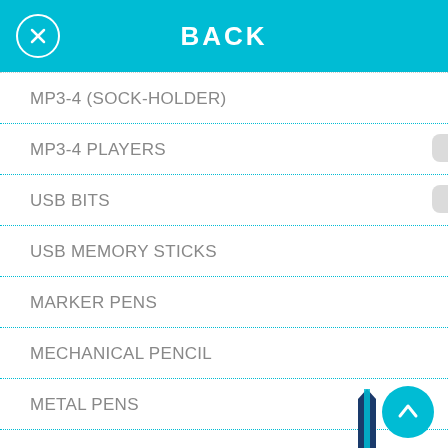BACK
MP3-4 (SOCK-HOLDER)
MP3-4 PLAYERS
USB BITS
USB MEMORY STICKS
MARKER PENS
MECHANICAL PENCIL
METAL PENS
PEN POTS (DESK TIDY)